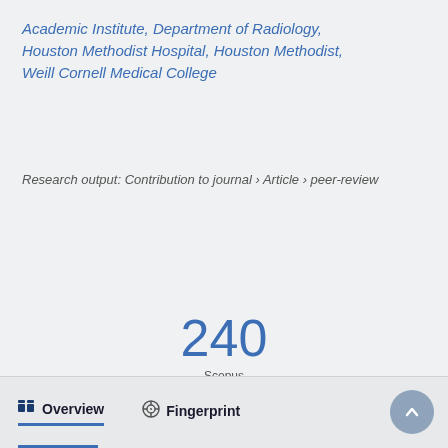Academic Institute, Department of Radiology, Houston Methodist Hospital, Houston Methodist, Weill Cornell Medical College
Research output: Contribution to journal › Article › peer-review
240 Scopus citations
Overview   Fingerprint